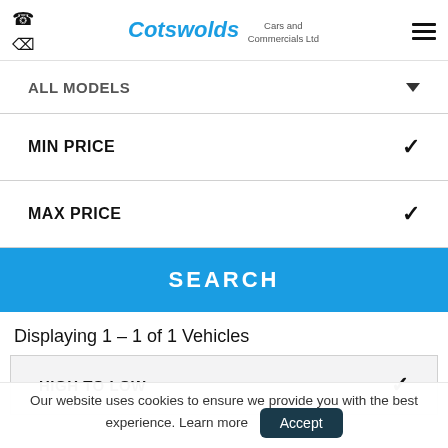Cotswolds Cars and Commercials Ltd
ALL MODELS
MIN PRICE
MAX PRICE
SEARCH
Displaying 1 - 1 of 1 Vehicles
HIGH TO LOW
Our website uses cookies to ensure we provide you with the best experience. Learn more  Accept